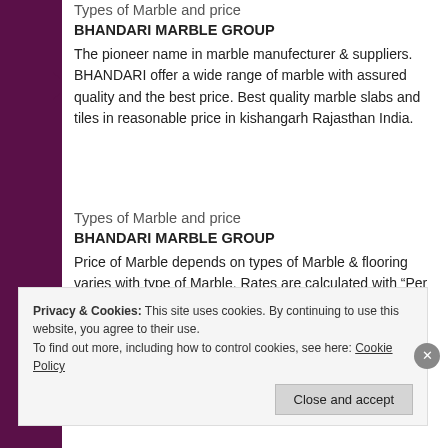Types of Marble and price
BHANDARI MARBLE GROUP
The pioneer name in marble manufecturer & suppliers. BHANDARI offer a wide range of marble with assured quality and the best price. Best quality marble slabs and tiles in reasonable price in kishangarh Rajasthan India.
Types of Marble and price
BHANDARI MARBLE GROUP
Price of Marble depends on types of Marble & flooring varies with type of Marble. Rates are calculated with “Per unit square feet or square meter.
Types of Marble and price
BHANDARI MARBLE GROUP
Privacy & Cookies: This site uses cookies. By continuing to use this website, you agree to their use.
To find out more, including how to control cookies, see here: Cookie Policy